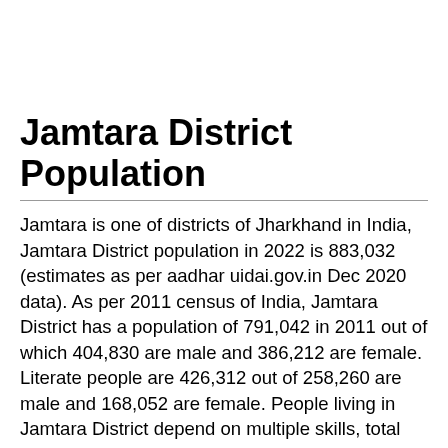Jamtara District Population
Jamtara is one of districts of Jharkhand in India, Jamtara District population in 2022 is 883,032 (estimates as per aadhar uidai.gov.in Dec 2020 data). As per 2011 census of India, Jamtara District has a population of 791,042 in 2011 out of which 404,830 are male and 386,212 are female. Literate people are 426,312 out of 258,260 are male and 168,052 are female. People living in Jamtara District depend on multiple skills, total workers are 326,631 out of which men are 214,740 and women are 111,891. Total 42,802 Cultivators are depended on agriculture farming out of 33,437 are cultivated by men and 9,365 are women. 26,814 people works in agricultural land as labor, men are 19,440 and 7,374 are women. Jamtara District sex ratio is 954 females per 1000 of males. Next Jamtara District Census will